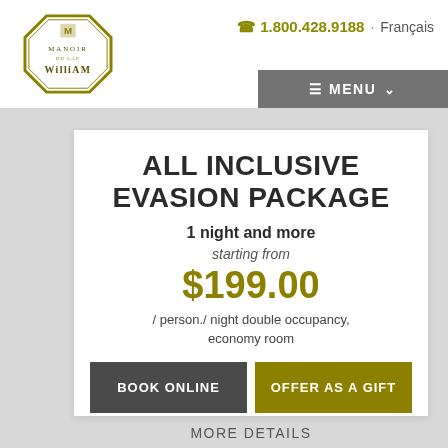[Figure (logo): Manoir du Lac William logo — octagonal gold border with stylized 'M' crest and text 'MANOIR DU LAC WILLIAM']
📞 1.800.428.9188 · Français
☰ MENU ∨
ALL INCLUSIVE EVASION PACKAGE
1 night and more
starting from
$199.00
/ person./ night double occupancy, economy room
BOOK ONLINE
OFFER AS A GIFT
MORE DETAILS